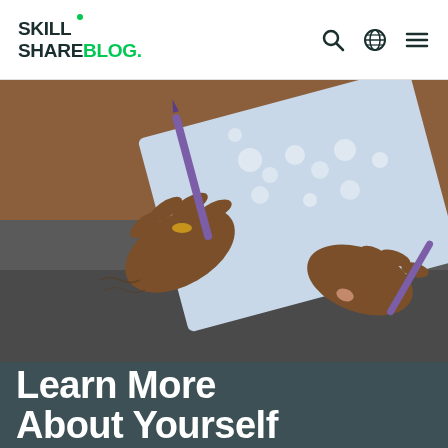SKILL SHARE Blog.
[Figure (photo): Close-up photo of a person's hands writing or drawing in a floral-patterned notebook with a purple pen, wearing a gold ring, with a tattoo visible on the wrist. The background shows a dark grey fabric.]
Learn More About Yourself